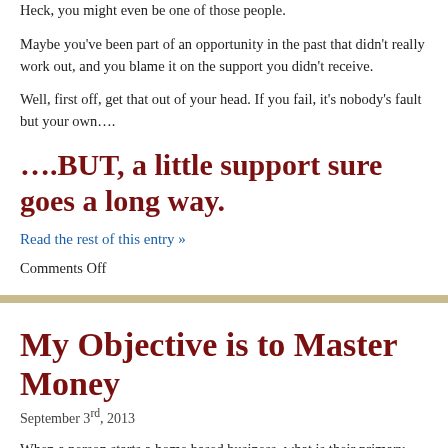Heck, you might even be one of those people.
Maybe you’ve been part of an opportunity in the past that didn’t really work out, and you blame it on the support you didn’t receive.
Well, first off, get that out of your head. If you fail, it’s nobody’s fault but your own….
….BUT, a little support sure goes a long way.
Read the rest of this entry »
Comments Off
My Objective is to Master Money
September 3rd, 2013
When a person starts a home based business, what is their primary objective? Ninety percent of the time, I’m willing to